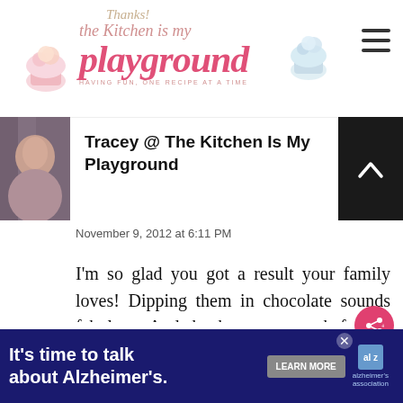[Figure (logo): The Kitchen Is My Playground blog header logo with decorative cupcakes and 'Thanks!' text]
Tracey @ The Kitchen Is My Playground
November 9, 2012 at 6:11 PM
I'm so glad you got a result your family loves! Dipping them in chocolate sounds fabulous. And thank you so much for the information about freezing them. I wouldn't have thought they would have held up through the
[Figure (infographic): Alzheimer's awareness advertisement banner: 'It's time to talk about Alzheimer's.' with Learn More button and Alzheimer's Association logo]